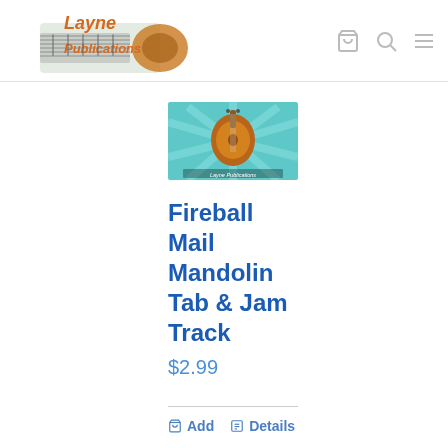Layne Publications
[Figure (photo): Product image showing a mandolin on a teal/light blue background with sunburst rays, with text 'Layne Publications' at the bottom]
Fireball Mail Mandolin Tab & Jam Track
$2.99
Add   Details